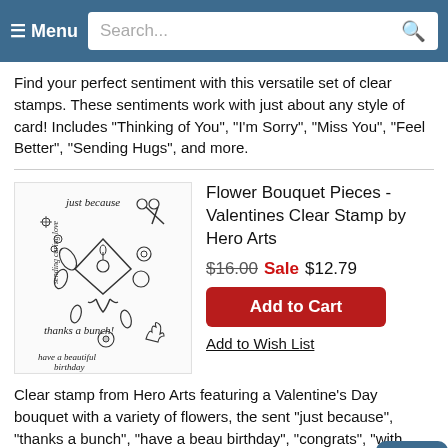≡ Menu  Search...
Find your perfect sentiment with this versatile set of clear stamps. These sentiments work with just about any style of card! Includes "Thinking of You", "I'm Sorry", "Miss You", "Feel Better", "Sending Hugs", and more.
[Figure (illustration): Clear stamp sheet showing flower bouquet pieces with sentiments: 'just because', 'thanks a bunch!', 'have a beautiful birthday', and various floral/botanical illustrations with scissors and bow elements.]
Flower Bouquet Pieces - Valentines Clear Stamp by Hero Arts
$16.00 Sale $12.79
Add to Cart
Add to Wish List
Clear stamp from Hero Arts featuring a Valentine's Day bouquet with a variety of flowers, the sent "just because", "thanks a bunch", "have a beau birthday", "congrats", "with love", and more! Coordinates with D1798 Flower Bouquet Pieces F